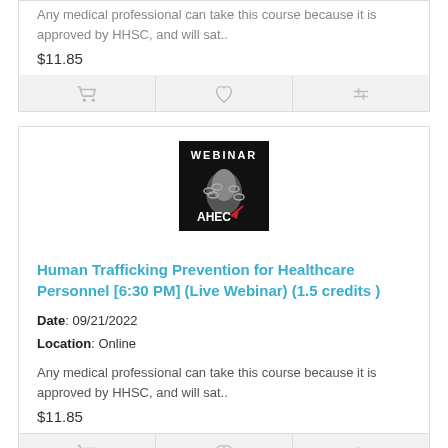Any medical professional can take this course because it is approved by HHSC, and will sat..
$11.85
[Figure (screenshot): Webinar image showing a hand in chains with WEBINAR and AHEC text on black background]
Human Trafficking Prevention for Healthcare Personnel [6:30 PM] (Live Webinar) (1.5 credits )
Date: 09/21/2022
Location: Online
Any medical professional can take this course because it is approved by HHSC, and will sat..
$11.85